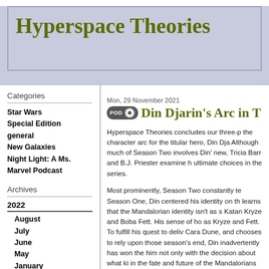Hyperspace Theories
Categories
Star Wars
Special Edition
general
New Galaxies
Night Light: A Ms. Marvel Podcast
Archives
2022
August
July
June
May
January
2021
November
October
September
Mon, 29 November 2021
Din Djarin's Arc in T
Hyperspace Theories concludes our three-p the character arc for the titular hero, Din Dja Although much of Season Two involves Din' new, Tricia Barr and B.J. Priester examine h ultimate choices in the series.
Most prominently, Season Two constantly te Season One, Din centered his identity on th learns that the Mandalorian identity isn't as s Katan Kryze and Boba Fett. His sense of ho as Kryze and Fett. To fulfill his quest to deliv Cara Dune, and chooses to rely upon those season's end, Din inadvertently has won the him not only with the decision about what ki in the fate and future of the Mandalorians w
Of course, we can't discuss Din's story with What began as a seemingly simple quest to parental bond. It is no coincidence that the r his helmet does so twice in the last two epis
With Season Three of The Mandalorian in p unresolved plot threads from the first two se